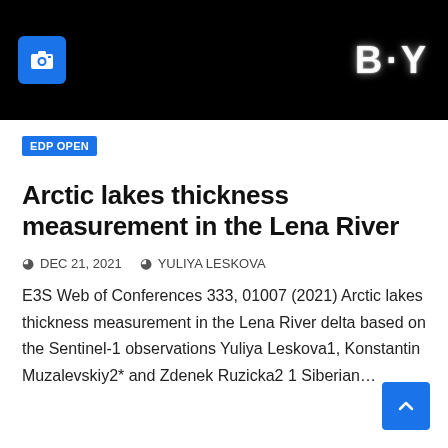[Figure (photo): Black banner header with a camera icon (blue square) on the left and 'BY' text in white with glow effect on the right, on a black background.]
EDP OPEN
Arctic lakes thickness measurement in the Lena River
DEC 21, 2021   YULIYA LESKOVA
E3S Web of Conferences 333, 01007 (2021) Arctic lakes thickness measurement in the Lena River delta based on the Sentinel-1 observations Yuliya Leskova1, Konstantin Muzalevskiy2* and Zdenek Ruzicka2 1 Siberian...